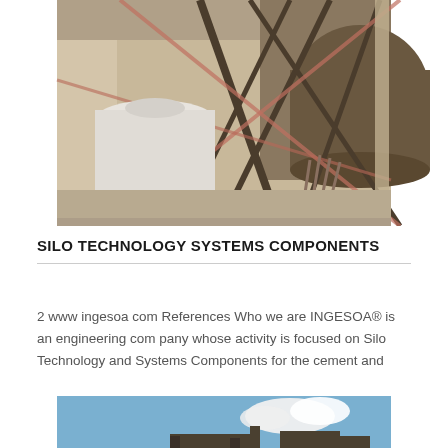[Figure (photo): Industrial photo showing large cylindrical storage tanks and silos inside a warehouse or factory setting, with metal scaffolding and structural supports visible. A large white tank is in the foreground and a large brown/dark cylindrical tank is in the background.]
SILO TECHNOLOGY SYSTEMS COMPONENTS
2 www ingesoa com References Who we are INGESOA® is an engineering com pany whose activity is focused on Silo Technology and Systems Components for the cement and
[Figure (photo): Outdoor photo showing industrial equipment against a blue sky with white clouds. Appears to show silo or storage equipment components from below.]